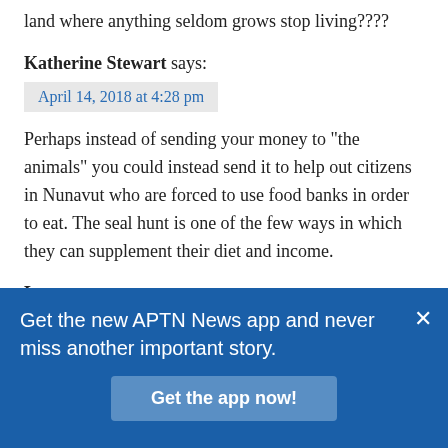land where anything seldom grows stop living????
Katherine Stewart says:
April 14, 2018 at 4:28 pm
Perhaps instead of sending your money to “the animals” you could instead send it to help out citizens in Nunavut who are forced to use food banks in order to eat. The seal hunt is one of the few ways in which they can supplement their diet and income.
Lynette says:
April 15, 2018 at 3:23 am
As an Alaskan, you are what we call ignorant
Get the new APTN News app and never miss another important story.
Get the app now!